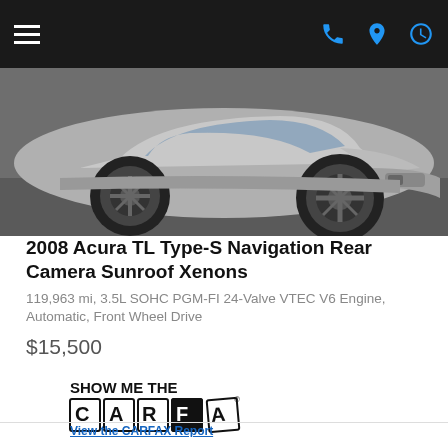Navigation bar with hamburger menu, phone, location, and clock icons
[Figure (photo): Silver Acura TL Type-S vehicle photographed from the front-side angle in a garage setting, showing alloy wheels and front bumper]
2008 Acura TL Type-S Navigation Rear Camera Sunroof Xenons
119,963 mi, 3.5L SOHC PGM-FI 24-Valve VTEC V6 Engine, Automatic, Front Wheel Drive
$15,500
[Figure (logo): SHOW ME THE CARFAX logo with 'View the CARFAX Report' link in blue]
Get E-price
Save button (floppy disk icon)